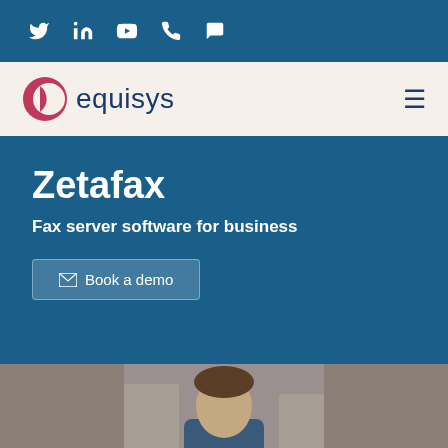Social media icons bar: Twitter, LinkedIn, YouTube, Phone, Chat
[Figure (logo): Equisys logo with red crescent moon icon and dark blue text 'equisys']
Zetafax
Fax server software for business
Book a demo
[Figure (photo): Partial photo of a person's head and shoulders in an office setting]
We use cookies on this site. It may not work properly without them, with some features becoming unavailable. More information about cookies and how we use them can be found here.